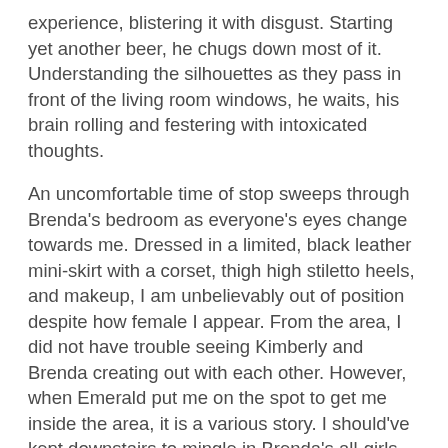experience, blistering it with disgust. Starting yet another beer, he chugs down most of it. Understanding the silhouettes as they pass in front of the living room windows, he waits, his brain rolling and festering with intoxicated thoughts.
An uncomfortable time of stop sweeps through Brenda's bedroom as everyone's eyes change towards me. Dressed in a limited, black leather mini-skirt with a corset, thigh high stiletto heels, and makeup, I am unbelievably out of position despite how female I appear. From the area, I did not have trouble seeing Kimberly and Brenda creating out with each other. However, when Emerald put me on the spot to get me inside the area, it is a various story. I should've kept downstairs to mingle in Brenda's all-girls party without letting my awareness intrude on Kimberly's time of fun. Instead, I'd to venture upstairs to consider her. It's not like I didn't have a notion of what she'd be doing. Anyhow, I have a sense Brenda and Kimberly knew what I'd do once I Free Live Webcam Porn Sites got to the party and in the offing accordingly. I believed that they'd equally be disappointed with me watching them, but that is maybe not the case